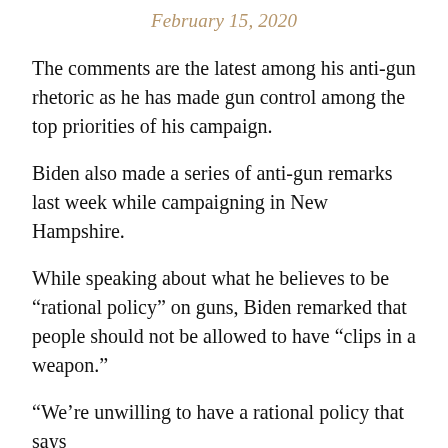February 15, 2020
The comments are the latest among his anti-gun rhetoric as he has made gun control among the top priorities of his campaign.
Biden also made a series of anti-gun remarks last week while campaigning in New Hampshire.
While speaking about what he believes to be “rational policy” on guns, Biden remarked that people should not be allowed to have “clips in a weapon.”
“We’re unwilling to have a rational policy that says